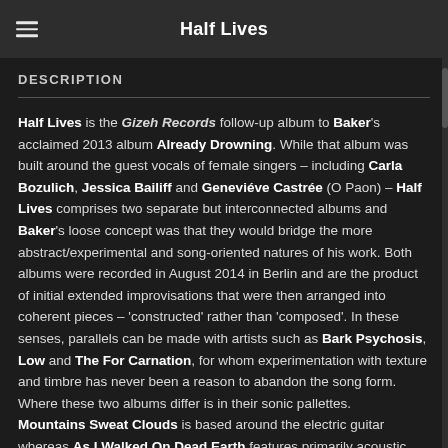Half Lives
DESCRIPTION
Half Lives is the Gizeh Records follow-up album to Baker's acclaimed 2013 album Already Drowning. While that album was built around the guest vocals of female singers – including Carla Bozulich, Jessica Bailiff and Geneviéve Castrée (O Paon) – Half Lives comprises two separate but interconnected albums and Baker's loose concept was that they would bridge the more abstract/experimental and song-oriented natures of his work. Both albums were recorded in August 2014 in Berlin and are the product of initial extended improvisations that were then arranged into coherent pieces – 'constructed' rather than 'composed'. In these senses, parallels can be made with artists such as Bark Psychosis, Low and The For Carnation, for whom experimentation with texture and timbre has never been a reason to abandon the song form. Where these two albums differ is in their sonic pallettes. Mountains Sweat Clouds is based around the electric guitar whereas As I Walked On Dead Earth features primarily acoustic